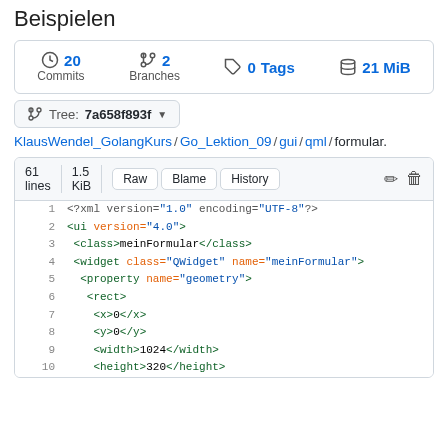Beispielen
20 Commits  2 Branches  0 Tags  21 MiB
Tree: 7a658f893f
KlausWendel_GolangKurs / Go_Lektion_09 / gui / qml / formular.
61 lines  1.5 KiB  Raw  Blame  History
1  <?xml version="1.0" encoding="UTF-8"?>
2  <ui version="4.0">
3   <class>meinFormular</class>
4   <widget class="QWidget" name="meinFormular">
5    <property name="geometry">
6     <rect>
7      <x>0</x>
8      <y>0</y>
9      <width>1024</width>
10     <height>320</height>